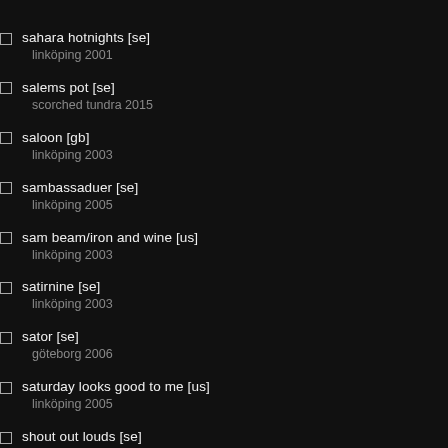sahara hotnights [se]
        linköping 2001
salems pot [se]
        scorched tundra 2015
saloon [gb]
        linköping 2003
sambassaduer [se]
        linköping 2005
sam beam/iron and wine [us]
        linköping 2003
satirnine [se]
        linköping 2003
sator [se]
        göteborg 2006
saturday looks good to me [us]
        linköping 2005
shout out louds [se]
        arvikafestivalen 2003
        linköping 2003
shugo tokumaru [jp]
        göteborg 2006
sia [au]
        way out west 2016
sibiria [se]
        göteborg 2005
sierra [ca]